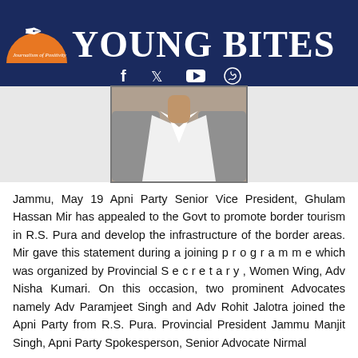Young Bites — Journalism of Positivity
[Figure (photo): Cropped photo of a person wearing a white collared shirt and grey jacket, showing neck and collar area only]
Jammu, May 19 Apni Party Senior Vice President, Ghulam Hassan Mir has appealed to the Govt to promote border tourism in R.S. Pura and develop the infrastructure of the border areas. Mir gave this statement during a joining p r o g r a m m e which was organized by Provincial S e c r e t a r y , Women Wing, Adv Nisha Kumari. On this occasion, two prominent Advocates namely Adv Paramjeet Singh and Adv Rohit Jalotra joined the Apni Party from R.S. Pura. Provincial President Jammu Manjit Singh, Apni Party Spokesperson, Senior Advocate Nirmal